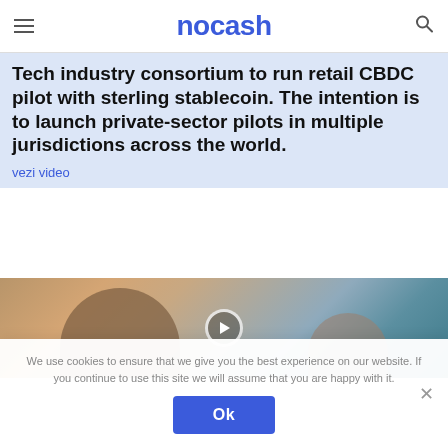nocash
Tech industry consortium to run retail CBDC pilot with sterling stablecoin. The intention is to launch private-sector pilots in multiple jurisdictions across the world.
vezi video
[Figure (photo): Video thumbnail showing two people in a warm indoor setting with plants in the background, with a play button overlay in the center.]
We use cookies to ensure that we give you the best experience on our website. If you continue to use this site we will assume that you are happy with it.
Ok